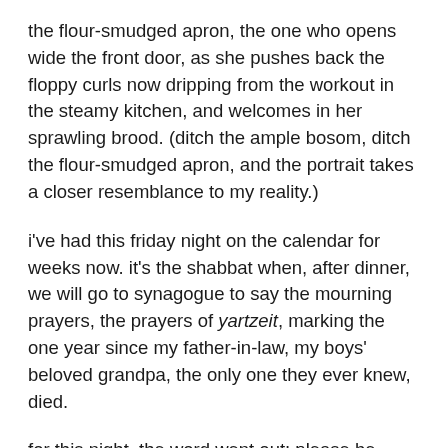the flour-smudged apron, the one who opens wide the front door, as she pushes back the floppy curls now dripping from the workout in the steamy kitchen, and welcomes in her sprawling brood. (ditch the ample bosom, ditch the flour-smudged apron, and the portrait takes a closer resemblance to my reality.)
i've had this friday night on the calendar for weeks now. it's the shabbat when, after dinner, we will go to synagogue to say the mourning prayers, the prayers of yartzeit, marking the one year since my father-in-law, my boys' beloved grandpa, the only one they ever knew, died.
for this night, the word went out: please be home for dinner.
and so, some time this morning, our old red wagon, now